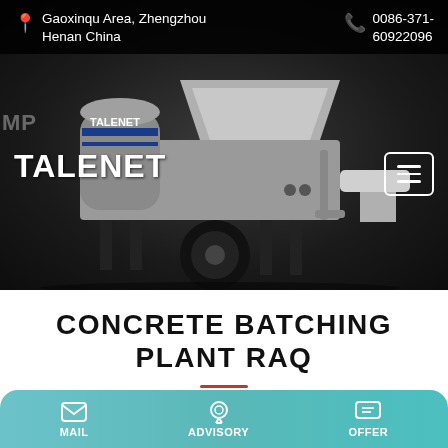Gaoxinqu Area, Zhengzhou Henan China  |  0086-371-60922096
[Figure (photo): Talenet branded concrete pump truck / batching plant machine photographed against a dark background. The machine is grey with blue Talenet branding stripes. It has a large hopper, hydraulic arms, and a single rear wheel visible.]
TALENET
CONCRETE BATCHING PLANT RAQ
MAIL  ADVISORY  OFFER